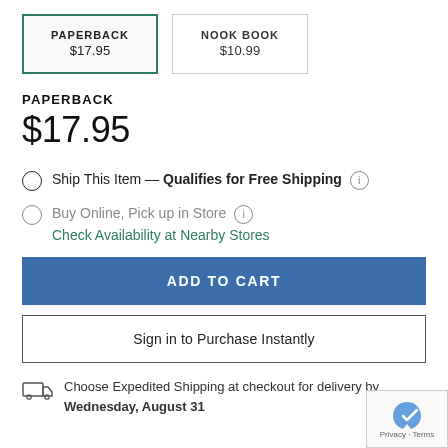PAPERBACK $17.95 | NOOK BOOK $10.99
PAPERBACK
$17.95
Ship This Item — Qualifies for Free Shipping (i)
Buy Online, Pick up in Store (i)
Check Availability at Nearby Stores
ADD TO CART
Sign in to Purchase Instantly
Choose Expedited Shipping at checkout for delivery by Wednesday, August 31